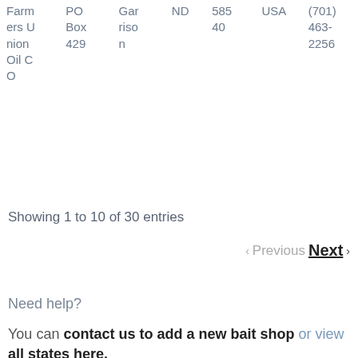| Farmers Union Oil Co | PO Box 429 | Garrison | ND | 58540 | USA | (701) 463-2256 |
Showing 1 to 10 of 30 entries
< Previous   Next >
Need help?
You can contact us to add a new bait shop or view all states here.